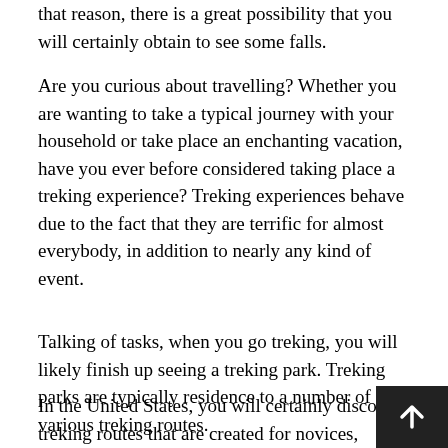that reason, there is a great possibility that you will certainly obtain to see some falls.
Are you curious about travelling? Whether you are wanting to take a typical journey with your household or take place an enchanting vacation, have you ever before considered taking place a treking experience? Treking experiences behave due to the fact that they are terrific for almost everybody, in addition to nearly any kind of event.
Talking of tasks, when you go treking, you will likely finish up seeing a treking park. Treking parks are typically residence to a number of various treking routes.
In the United States, you will certainly discover treking routes that are created for novices, treking tracks that are made for professionals, as well as those that are designed to accommodate all in between. More and more